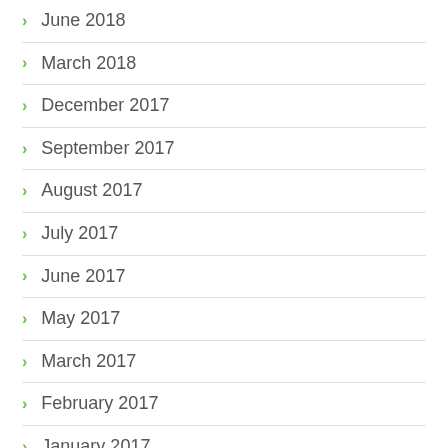June 2018
March 2018
December 2017
September 2017
August 2017
July 2017
June 2017
May 2017
March 2017
February 2017
January 2017
December 2016
November 2016